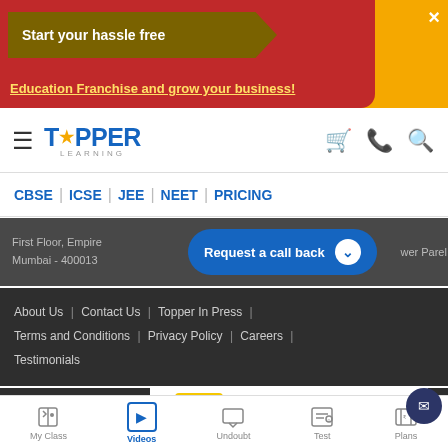[Figure (screenshot): TopperLearning website screenshot showing banner ad, navigation bar with logo, nav links (CBSE, ICSE, JEE, NEET, PRICING), address with call-back button, footer links, network bar, Hair Cuttery ad, and bottom navigation bar]
Start your hassle free
Education Franchise and grow your business!
TOPPER LEARNING
CBSE | ICSE | JEE | NEET | PRICING
First Floor, Empire... Lower Parel, Mumbai - 400013
Request a call back
About Us | Contact Us | Topper In Press | Terms and Conditions | Privacy Policy | Careers | Testimonials
NETWO
Walk-Ins Available
Hair Cuttery
My Class | Videos | Undoubt | Test | Plans